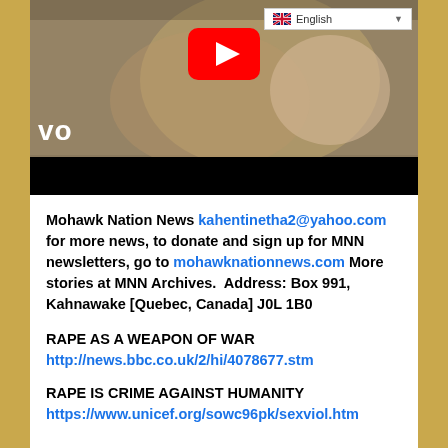[Figure (screenshot): YouTube video thumbnail showing a blonde woman with a YouTube play button overlay, a language selector showing English with UK flag in the top right, VEVO text in the bottom left, and a black bar at the bottom.]
Mohawk Nation News kahentinetha2@yahoo.com for more news, to donate and sign up for MNN newsletters, go to mohawknationnews.com More stories at MNN Archives.  Address: Box 991, Kahnawake [Quebec, Canada] J0L 1B0
RAPE AS A WEAPON OF WAR http://news.bbc.co.uk/2/hi/4078677.stm
RAPE IS CRIME AGAINST HUMANITY https://www.unicef.org/sowc96pk/sexviol.htm